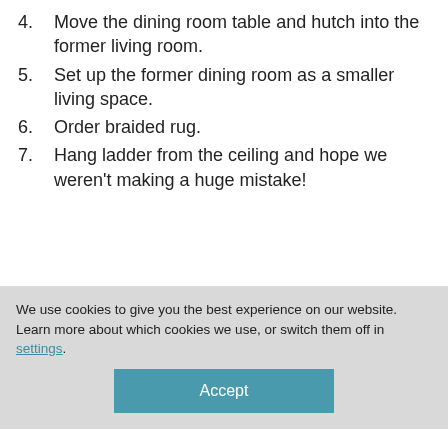4. Move the dining room table and hutch into the former living room.
5. Set up the former dining room as a smaller living space.
6. Order braided rug.
7. Hang ladder from the ceiling and hope we weren't making a huge mistake!
We use cookies to give you the best experience on our website.
Learn more about which cookies we use, or switch them off in settings.
Accept